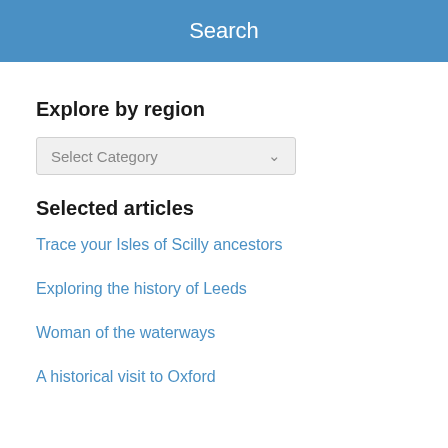Search
Explore by region
Select Category
Selected articles
Trace your Isles of Scilly ancestors
Exploring the history of Leeds
Woman of the waterways
A historical visit to Oxford